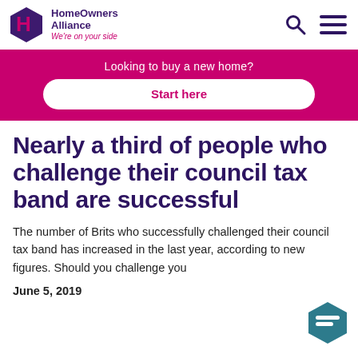HomeOwners Alliance — We're on your side
[Figure (infographic): Pink promotional banner reading 'Looking to buy a new home?' with a white rounded button 'Start here']
Nearly a third of people who challenge their council tax band are successful
The number of Brits who successfully challenged their council tax band has increased in the last year, according to new figures. Should you challenge you…
June 5, 2019